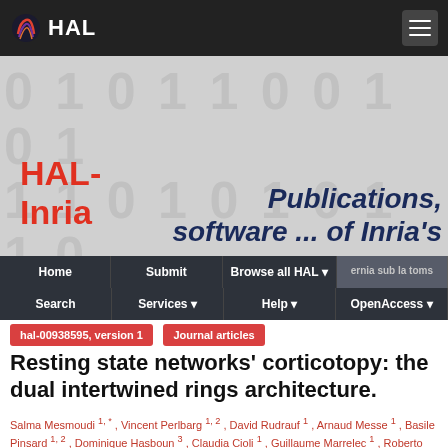HAL
[Figure (screenshot): HAL-Inria banner with binary digits background, red HAL-Inria text on left, dark blue italic 'Publications, software ... of Inria's' text on right]
[Figure (infographic): Navigation bar with: Home, Submit, Browse all HAL, (partially obscured), Search, Services, Help, OpenAccess]
hal-00938595, version 1   Journal articles
Resting state networks' corticotopy: the dual intertwined rings architecture.
Salma Mesmoudi 1, * , Vincent Perlbarg 1, 2 , David Rudrauf 1 , Arnaud Messe 1 , Basile Pinsard 1, 2 , Dominique Hasboun 3 , Claudia Cioli 1 , Guillaume Marrelec 1 , Roberto Toro 4 , Habib Benali 1 , Yves Burnod 1, *